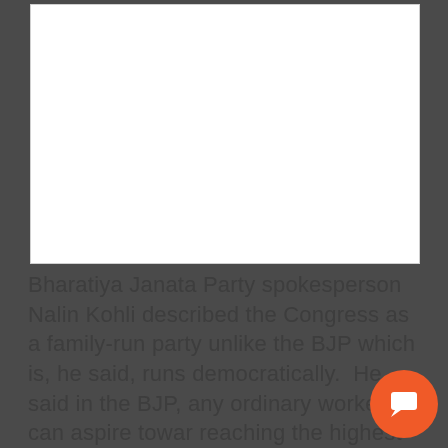[Figure (other): White rectangular image placeholder area above the article text]
Bharatiya Janata Party spokesperson Nalin Kohli described the Congress as a family-run party unlike the BJP which is, he said, runs democratically.  He said in the BJP, any ordinary worker can aspire toward reaching the highest echelons, adding that Prime Minister Narendra Modi's journey...